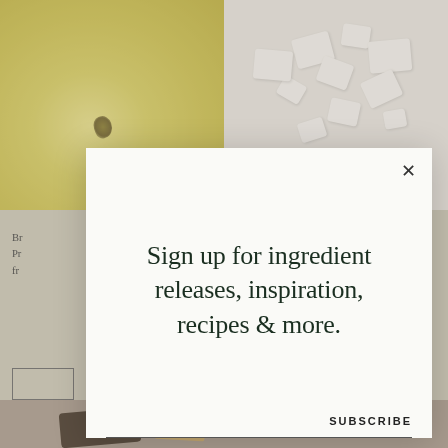[Figure (screenshot): Background showing two food/ingredient photos at top (left: olive oil in bowl, right: white broken pieces/tablets on beige surface) and partially visible webpage content behind a modal popup, with dark food items visible at bottom]
Sign up for ingredient releases, inspiration, recipes & more.
SUBSCRIBE